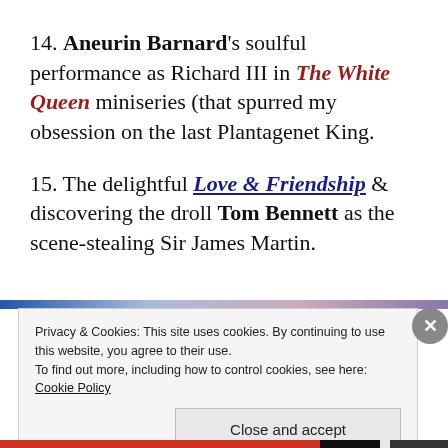14. Aneurin Barnard's soulful performance as Richard III in The White Queen miniseries (that spurred my obsession on the last Plantagenet King.
15. The delightful Love & Friendship & discovering the droll Tom Bennett as the scene-stealing Sir James Martin.
Privacy & Cookies: This site uses cookies. By continuing to use this website, you agree to their use. To find out more, including how to control cookies, see here: Cookie Policy